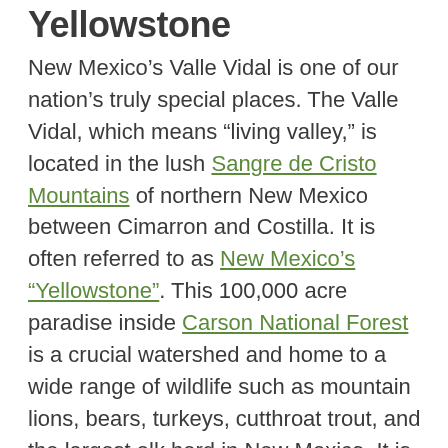Yellowstone
New Mexico’s Valle Vidal is one of our nation’s truly special places. The Valle Vidal, which means “living valley,” is located in the lush Sangre de Cristo Mountains of northern New Mexico between Cimarron and Costilla. It is often referred to as New Mexico’s “Yellowstone”. This 100,000 acre paradise inside Carson National Forest is a crucial watershed and home to a wide range of wildlife such as mountain lions, bears, turkeys, cutthroat trout, and the largest elk herd in New Mexico. It is a critical winter habitat for these wild animals as well.